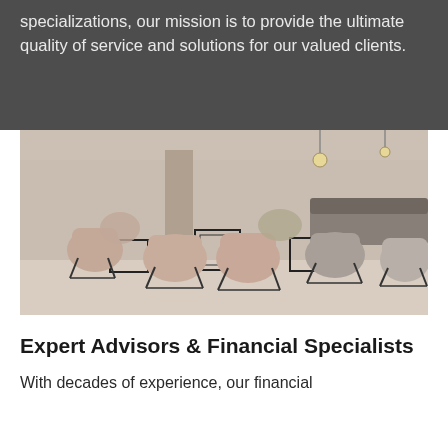specializations, our mission is to provide the ultimate quality of service and solutions for our valued clients.
[Figure (photo): Interior of a modern office lounge with pink and grey upholstered chairs on wire-frame bases arranged around black metal cube tables, with pendant lights hanging from the ceiling in the background.]
Expert Advisors & Financial Specialists
With decades of experience, our financial